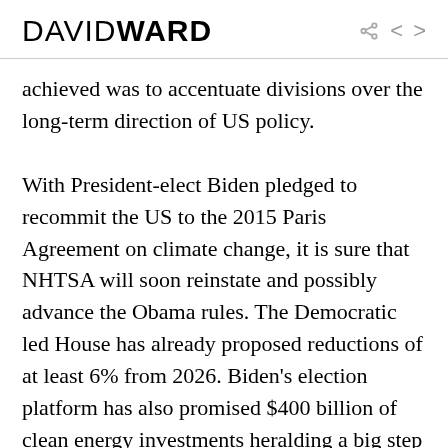DAVIDWARD
achieved was to accentuate divisions over the long-term direction of US policy.
With President-elect Biden pledged to recommit the US to the 2015 Paris Agreement on climate change, it is sure that NHTSA will soon reinstate and possibly advance the Obama rules. The Democratic led House has already proposed reductions of at least 6% from 2026. Biden’s election platform has also promised $400 billion of clean energy investments heralding a big step up in US Government support for electric vehicles and advance battery technology. The next third of a